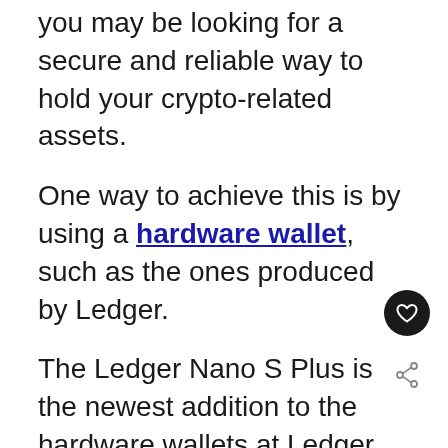you may be looking for a secure and reliable way to hold your crypto-related assets.
One way to achieve this is by using a hardware wallet, such as the ones produced by Ledger.
The Ledger Nano S Plus is the newest addition to the hardware wallets at Ledger, and it has come with some impressive features for securing your assets online.
The new Ledger Nano S Plus is an